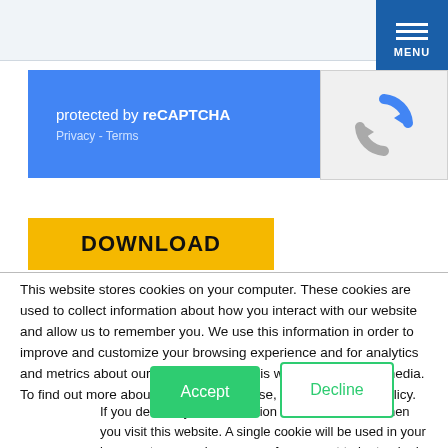[Figure (screenshot): reCAPTCHA widget with blue left panel showing 'protected by reCAPTCHA' and Privacy/Terms links, and grey right panel with reCAPTCHA logo]
DOWNLOAD
This website stores cookies on your computer. These cookies are used to collect information about how you interact with our website and allow us to remember you. We use this information in order to improve and customize your browsing experience and for analytics and metrics about our visitors both on this website and other media. To find out more about the cookies we use, see our Privacy Policy.
If you decline, your information won't be tracked when you visit this website. A single cookie will be used in your browser to remember your preference not to be tracked.
Accept
Decline